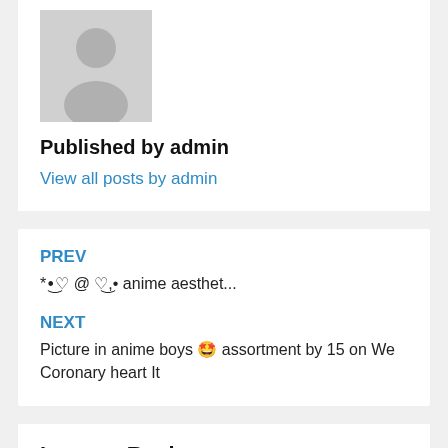[Figure (illustration): Gray placeholder avatar icon showing a silhouette of a person on a light gray background]
Published by admin
View all posts by admin
PREV
*•͜♡ @ ♡͜,•  anime aesthet...
NEXT
Picture in anime boys 🤩 assortment by 15 on We Coronary heart It
Leave a Reply